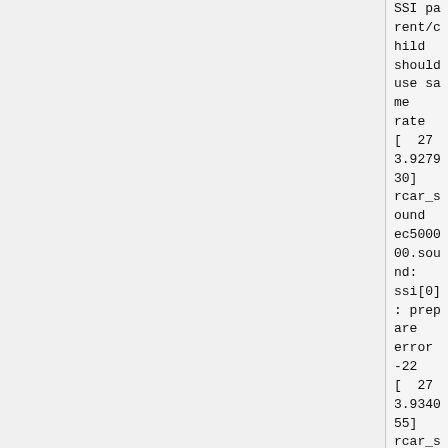SSI parent/child should use same rate
[  273.927930] rcar_sound ec500000.sound: ssi[0] : prepare error -22
[  273.934055] rcar_sound ec500000.sound: ASoC: cpu DAI prepare error: -22
ERROR: from element /GstPipeline:pipeline Could not get/set settings from/on resource. Additional debug info: ../../../gst-plugins-base-